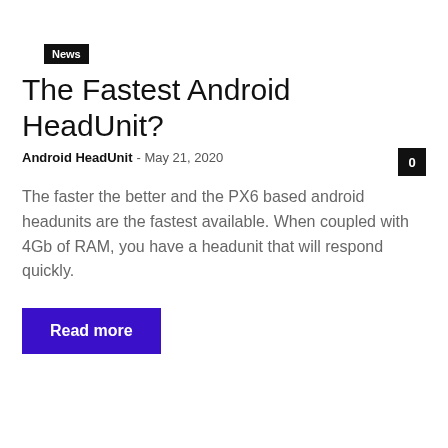News
The Fastest Android HeadUnit?
Android HeadUnit · May 21, 2020
The faster the better and the PX6 based android headunits are the fastest available. When coupled with 4Gb of RAM, you have a headunit that will respond quickly.
Read more